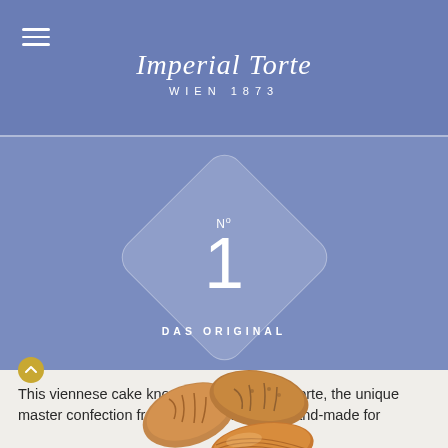Imperial Torte — WIEN 1873
[Figure (illustration): Diamond-shaped badge with 'N°1' large text and 'DAS ORIGINAL' label below, on a periwinkle blue background, with almonds illustration below]
This viennese cake known as the Imperial Torte, the unique master confection from Vienna, has been hand-made for